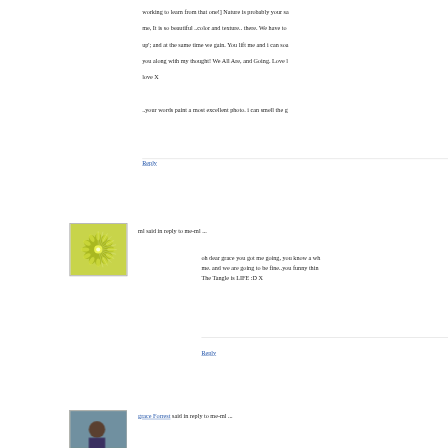working to learn from that one!] Nature is probably your sa me, It is so beautiful ..color and texture.. there. We have to up'; and at the same time we gain. You lift me and i can soa you along with my thought! We All Are, and Going. Love l love X
..your words paint a most excellent photo. i can smell the g
Reply
[Figure (illustration): Green mandala/flower geometric pattern avatar image on light background]
ml said in reply to me-ml ...
oh dear grace you got me going, you know a wh me. and we are going to be fine..you funny thin The Tangle is LIFE :D X
Reply
[Figure (photo): Photo of a person outdoors, avatar for grace Forrest]
grace Forrest said in reply to me-ml ...